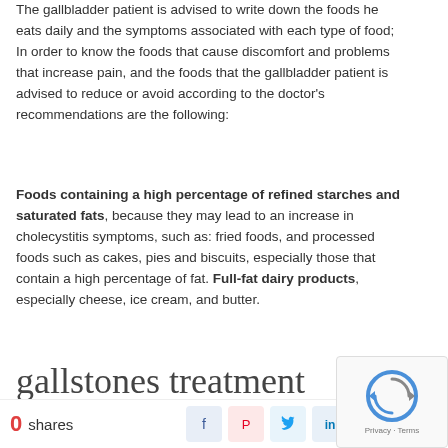The gallbladder patient is advised to write down the foods he eats daily and the symptoms associated with each type of food; In order to know the foods that cause discomfort and problems that increase pain, and the foods that the gallbladder patient is advised to reduce or avoid according to the doctor's recommendations are the following:
Foods containing a high percentage of refined starches and saturated fats, because they may lead to an increase in cholecystitis symptoms, such as: fried foods, and processed foods such as cakes, pies and biscuits, especially those that contain a high percentage of fat. Full-fat dairy products, especially cheese, ice cream, and butter.
gallstones treatment
0 shares